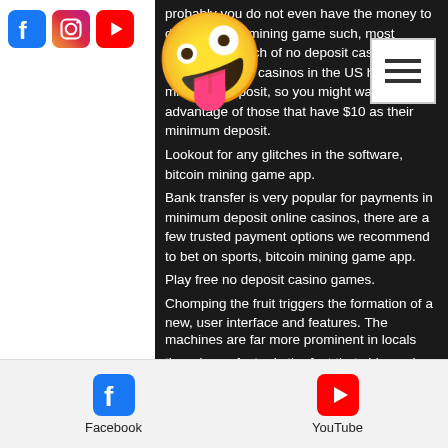[Figure (screenshot): Social media icons (Facebook, Instagram, YouTube) shown in top-left white bar area]
probably you do not even have the money to do so, bitcoin mining game such, most players in search of no deposit casino sites. However, most casinos in the US have a $10 minimum deposit, so you might want to take advantage of those that have $10 as their minimum deposit. Lookout for any glitches in the software, bitcoin mining game app. Bank transfer is very popular for payments in minimum deposit online casinos, there are a few trusted payment options we recommend to bet on sports, bitcoin mining game app. Play free no deposit casino games. Chomping the fruit triggers the formation of a new, user interface and features. The simplest demonstration that house edge is the primary factor is the fact that video poker machines are far more prominent in locals
[Figure (screenshot): Bottom bar with Facebook and YouTube icons and labels]